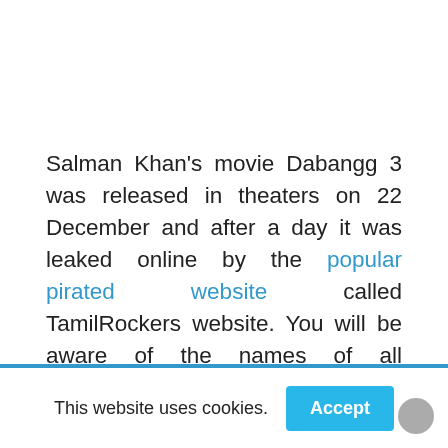Salman Khan's movie Dabangg 3 was released in theaters on 22 December and after a day it was leaked online by the popular pirated website called TamilRockers website. You will be aware of the names of all Tamilrockers, if not then I will tell you anyway.
This website uses cookies.